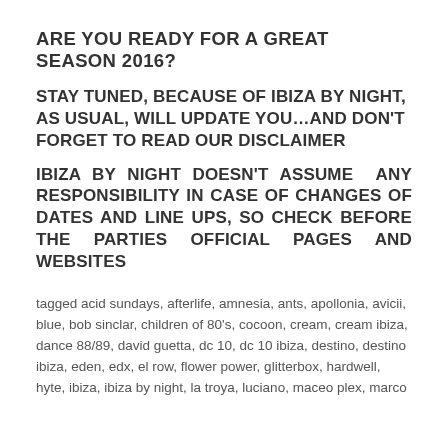ARE YOU READY FOR A GREAT SEASON 2016?
STAY TUNED, BECAUSE OF IBIZA BY NIGHT, AS USUAL, WILL UPDATE YOU…AND DON'T FORGET TO READ OUR DISCLAIMER
IBIZA BY NIGHT DOESN'T ASSUME ANY RESPONSIBILITY IN CASE OF CHANGES OF DATES AND LINE UPS, SO CHECK BEFORE THE PARTIES OFFICIAL PAGES AND WEBSITES
tagged acid sundays, afterlife, amnesia, ants, apollonia, avicii, blue, bob sinclar, children of 80's, cocoon, cream, cream ibiza, dance 88/89, david guetta, dc 10, dc 10 ibiza, destino, destino ibiza, eden, edx, el row, flower power, glitterbox, hardwell, hyte, ibiza, ibiza by night, la troya, luciano, maceo plex, marco